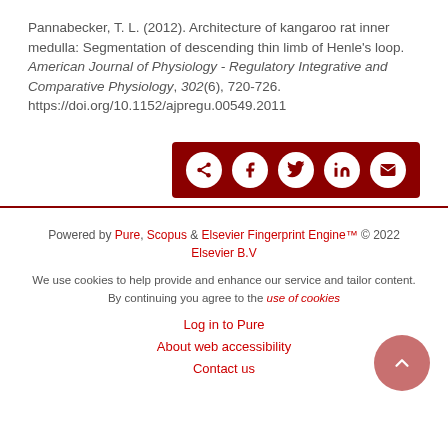Pannabecker, T. L. (2012). Architecture of kangaroo rat inner medulla: Segmentation of descending thin limb of Henle's loop. American Journal of Physiology - Regulatory Integrative and Comparative Physiology, 302(6), 720-726. https://doi.org/10.1152/ajpregu.00549.2011
[Figure (other): Dark red share button bar with icons for share, Facebook, Twitter, LinkedIn, and email]
Powered by Pure, Scopus & Elsevier Fingerprint Engine™ © 2022 Elsevier B.V
We use cookies to help provide and enhance our service and tailor content. By continuing you agree to the use of cookies
Log in to Pure
About web accessibility
Contact us